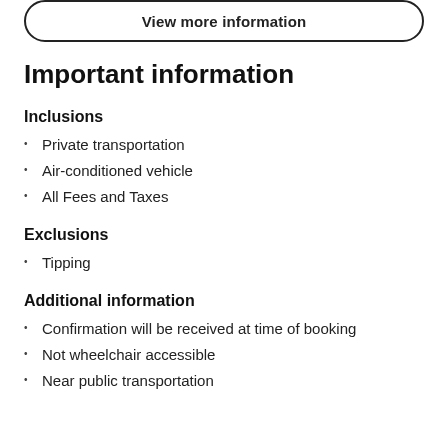[Figure (other): Button with rounded border labeled 'View more information']
Important information
Inclusions
Private transportation
Air-conditioned vehicle
All Fees and Taxes
Exclusions
Tipping
Additional information
Confirmation will be received at time of booking
Not wheelchair accessible
Near public transportation